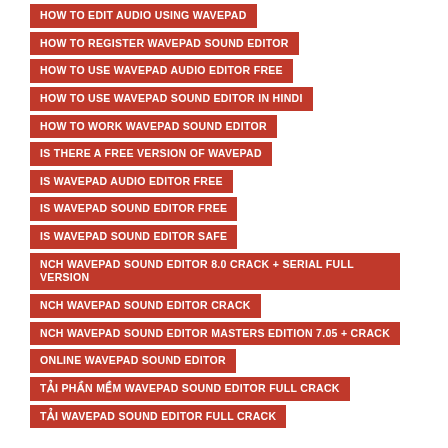HOW TO EDIT AUDIO USING WAVEPAD
HOW TO REGISTER WAVEPAD SOUND EDITOR
HOW TO USE WAVEPAD AUDIO EDITOR FREE
HOW TO USE WAVEPAD SOUND EDITOR IN HINDI
HOW TO WORK WAVEPAD SOUND EDITOR
IS THERE A FREE VERSION OF WAVEPAD
IS WAVEPAD AUDIO EDITOR FREE
IS WAVEPAD SOUND EDITOR FREE
IS WAVEPAD SOUND EDITOR SAFE
NCH WAVEPAD SOUND EDITOR 8.0 CRACK + SERIAL FULL VERSION
NCH WAVEPAD SOUND EDITOR CRACK
NCH WAVEPAD SOUND EDITOR MASTERS EDITION 7.05 + CRACK
ONLINE WAVEPAD SOUND EDITOR
TẢI PHẦN MỀM WAVEPAD SOUND EDITOR FULL CRACK
TẢI WAVEPAD SOUND EDITOR FULL CRACK